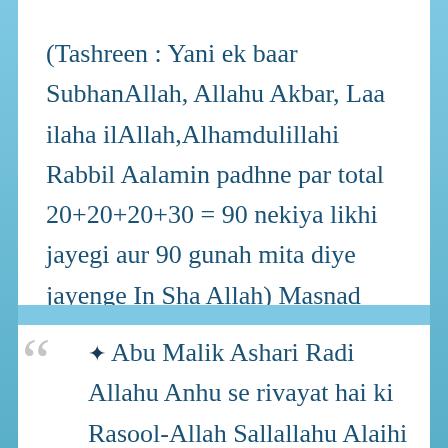(Tashreen : Yani ek baar SubhanAllah, Allahu Akbar, Laa ilaha ilAllah,Alhamdulillahi Rabbil Aalamin padhne par total 20+20+20+30 = 90 nekiya likhi jayegi aur 90 gunah mita diye jayenge In Sha Allah) Masnad Ahmed, 7813-Sahih
✦ Abu Malik Ashari Radi Allahu Anhu se rivayat hai ki Rasool-Allah Sallallahu Alaihi Wasallam ne farmaya Alhadulillah kahne se